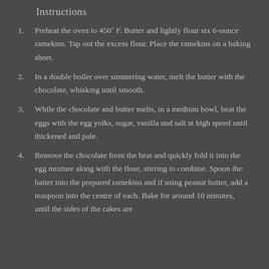Instructions
Preheat the oven to 450˚ F. Butter and lightly flour six 6-ounce ramekins. Tap out the excess flour. Place the ramekins on a baking sheet.
In a double boiler over simmering water, melt the butter with the chocolate, whisking until smooth.
While the chocolate and butter melts, in a medium bowl, beat the eggs with the egg yolks, sugar, vanilla and salt at high speed until thickened and pale.
Remove the chocolate from the heat and quickly fold it into the egg mixture along with the flour, stirring to combine. Spoon the batter into the prepared ramekins and if using peanut butter, add a teaspoon into the centre of each. Bake for around 10 minutes, until the sides of the cakes are